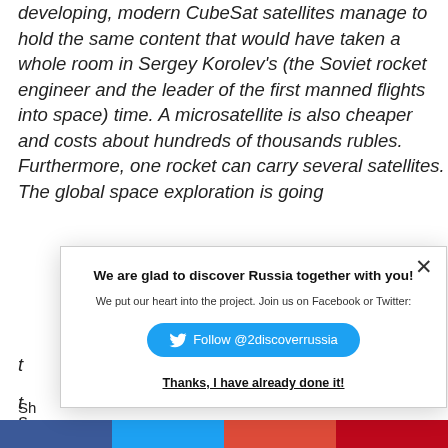developing, modern CubeSat satellites manage to hold the same content that would have taken a whole room in Sergey Korolev's (the Soviet rocket engineer and the leader of the first manned flights into space) time. A microsatellite is also cheaper and costs about hundreds of thousands rubles. Furthermore, one rocket can carry several satellites. The global space exploration is going t... t... s... c... s... r...
[Figure (screenshot): Modal popup overlay with close button (×), bold heading 'We are glad to discover Russia together with you!', subtitle 'We put our heart into the project. Join us on Facebook or Twitter:', a Twitter Follow button '@2discoverrussia', and a link 'Thanks, I have already done it!']
Sh...